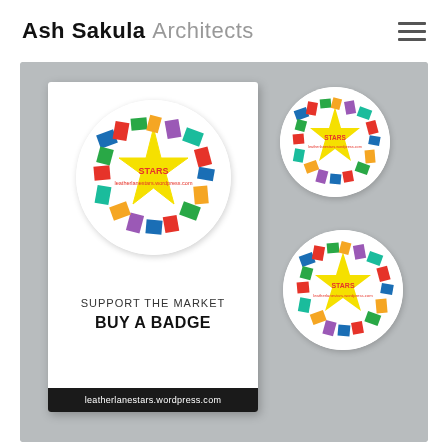Ash Sakula Architects
[Figure (photo): Photograph of badge/pin merchandise for 'Leather Lane Stars' market. Shows one large badge on a backing card that reads 'SUPPORT THE MARKET BUY A BADGE' with leatherlanestars.wordpress.com, and two smaller loose badges. All badges feature a colorful star/letter design.]